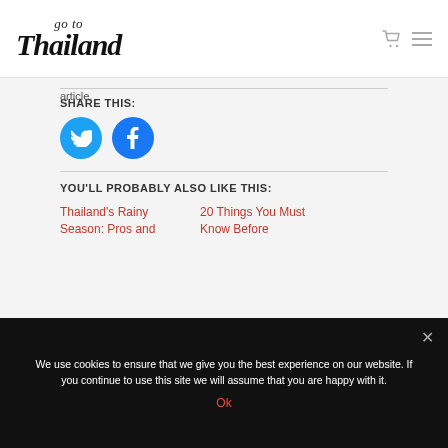go to Thailand
article.
SHARE THIS:
[Figure (other): Twitter and Facebook share buttons (circular blue icons)]
YOU'LL PROBABLY ALSO LIKE THIS:
Thailand's Rainy Season: Pros and
20 Things You Must Know Before
We use cookies to ensure that we give you the best experience on our website. If you continue to use this site we will assume that you are happy with it.
Ok